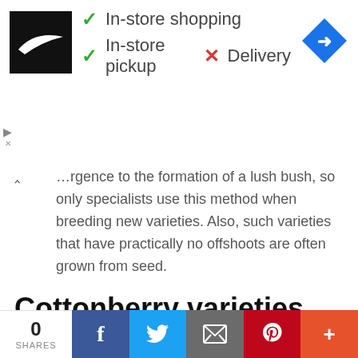[Figure (screenshot): Nike store ad banner showing Nike swoosh logo on black background, green checkmarks for In-store shopping and In-store pickup, red X for Delivery, and a blue navigation diamond icon]
…rgence to the formation of a lush bush, so only specialists use this method when breeding new varieties. Also, such varieties that have practically no offshoots are often grown from seed.
Cottonberry varieties with photos
There are relatively many decorative varieties of Crested Chlorophytum that differ from each other in color and shape of the leaves. For example:
0 SHARES  [Facebook] [Twitter] [Email] [Pinterest] [More]